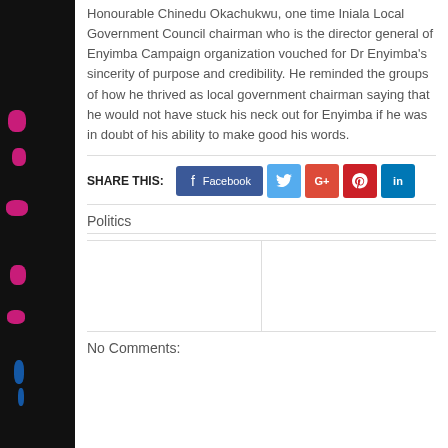Honourable Chinedu Okachukwu, one time Iniala Local Government Council chairman who is the director general of Enyimba Campaign organization vouched for Dr Enyimba's sincerity of purpose and credibility. He reminded the groups of how he thrived as local government chairman saying that he would not have stuck his neck out for Enyimba if he was in doubt of his ability to make good his words.
SHARE THIS:
[Figure (other): Social share buttons: Facebook, Twitter, Google+, Pinterest, LinkedIn]
Politics
No Comments: